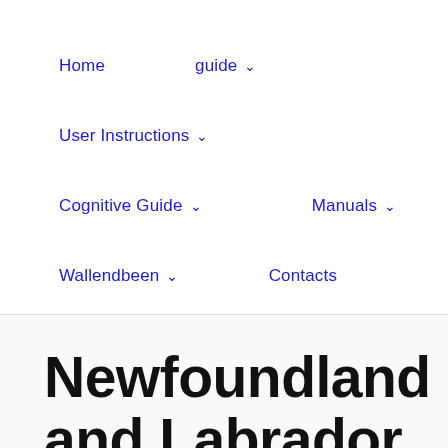Home   guide ∨   User Instructions ∨   Cognitive Guide ∨   Manuals ∨   Wallendbeen ∨   Contacts
Newfoundland and Labrador